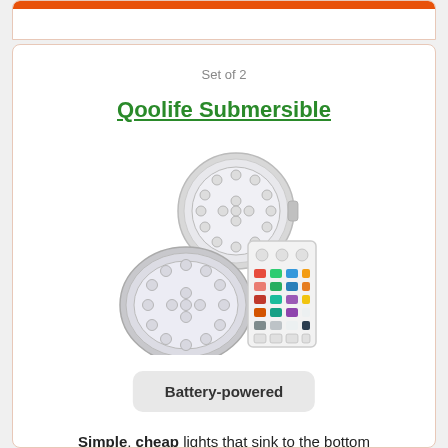Set of 2
Qoolife Submersible
[Figure (photo): Two round submersible LED lights with multiple LEDs arranged in a circular pattern, shown alongside a small RGB remote control with colorful buttons.]
Battery-powered
Simple, cheap lights that sink to the bottom